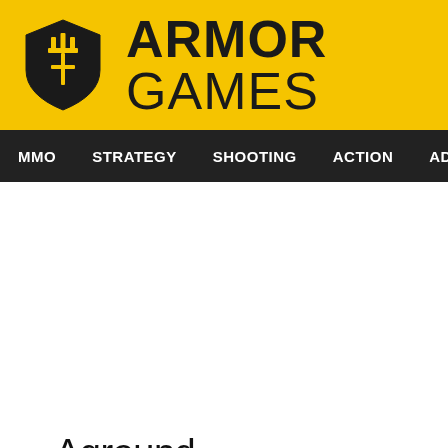[Figure (logo): Armor Games logo with yellow background, shield icon and bold ARMOR GAMES text]
MMO  STRATEGY  SHOOTING  ACTION  ADVENTURE  P
Aground
97  3M  DRAGON  ADVENTURE  GAMES OF 2017  SURVIVAL  MINING